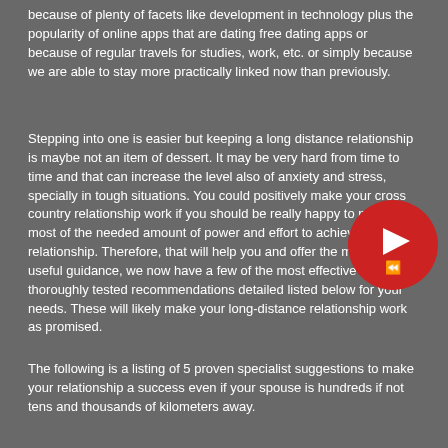because of plenty of facets like development in technology plus the popularity of online apps that are dating free dating apps or because of regular travels for studies, work, etc. or simply because we are able to stay more practically linked now than previously.
Stepping into one is easier but keeping a long distance relationship is maybe not an item of dessert. It may be very hard from time to time and that can increase the level also of anxiety and stress, specially in tough situations. You could positively make your cross country relationship work if you should be really happy to place in most of the needed amount of power and effort to achieve your relationship. Therefore, that will help you and offer the most readily useful guidance, we now have a few of the most effective thoroughly tested recommendations detailed listed below for your needs. These will likely make your long-distance relationship work as promised.
[Figure (other): Red circular play button icon with a white play triangle and a rewind/fast-forward symbol below it]
The following is a listing of 5 proven specialist suggestions to make your relationship a success even if your spouse is hundreds if not tens and thousands of kilometers away.